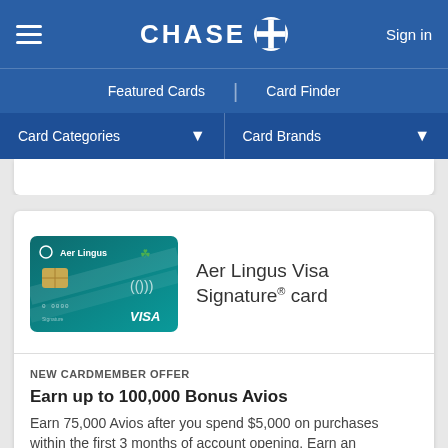CHASE  Sign in
Featured Cards | Card Finder
Card Categories  Card Brands
[Figure (screenshot): Aer Lingus Visa Signature credit card image — teal/green card with Aer Lingus branding and VISA logo]
Aer Lingus Visa Signature® card
NEW CARDMEMBER OFFER
Earn up to 100,000 Bonus Avios
Earn 75,000 Avios after you spend $5,000 on purchases within the first 3 months of account opening. Earn an